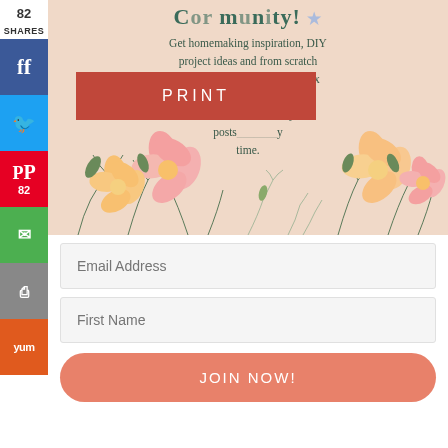[Figure (illustration): Social share sidebar with Facebook (blue), Twitter (cyan), Pinterest (red, 82 saves), Email (green), Print (gray), Yummly (orange) buttons. Shows 82 SHARES count at top.]
[Figure (illustration): Floral banner with peach/salmon background showing partially visible text about homemaking community, DIY projects, recipes. A red PRINT button overlays the center. Decorative pink and peach flowers with green foliage at the bottom.]
Get homemaking inspiration, DIY project ideas and from scratch recipes sent right to your inbox PLUS AND posts time.
PRINT
Email Address
First Name
JOIN NOW!